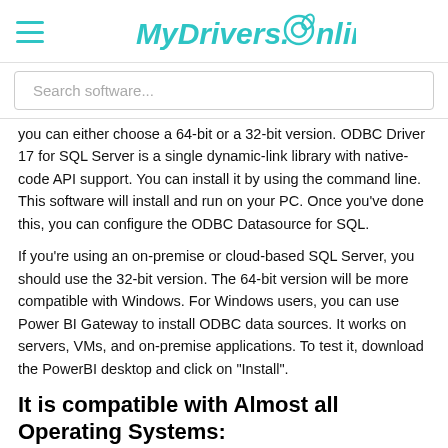MyDrivers.Online
Search software...
you can either choose a 64-bit or a 32-bit version. ODBC Driver 17 for SQL Server is a single dynamic-link library with native-code API support. You can install it by using the command line. This software will install and run on your PC. Once you've done this, you can configure the ODBC Datasource for SQL.
If you're using an on-premise or cloud-based SQL Server, you should use the 32-bit version. The 64-bit version will be more compatible with Windows. For Windows users, you can use Power BI Gateway to install ODBC data sources. It works on servers, VMs, and on-premise applications. To test it, download the PowerBI desktop and click on "Install".
It is compatible with Almost all Operating Systems:
The Microsoft ODBC Driver 17 for SQL Server is a single dynamic-link library that contains native-code support. It is compatible with Windows, Mac, Linux, and VMs. The Windows